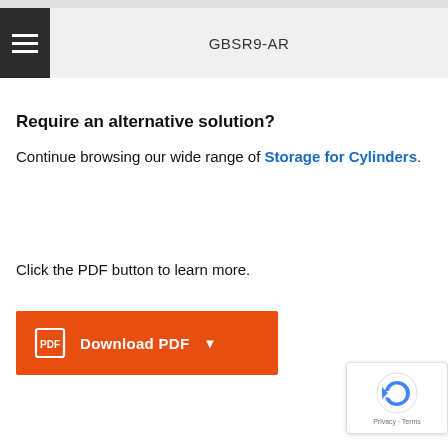GBSR9-AR
Require an alternative solution?
Continue browsing our wide range of Storage for Cylinders.
Click the PDF button to learn more.
[Figure (other): Orange Download PDF button with PDF icon and dropdown arrow]
[Figure (other): reCAPTCHA privacy badge with Google logo, Privacy and Terms text]